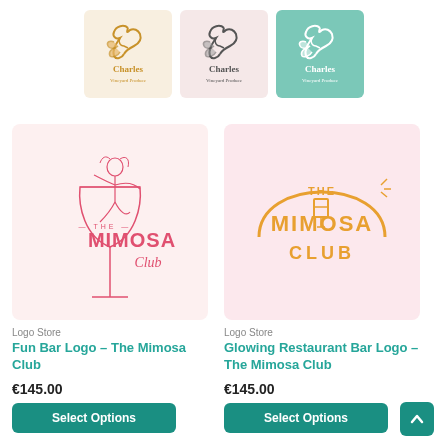[Figure (logo): Three Charles Vineyard Produce swan logos: cream/gold background, pink/gray background, teal background]
[Figure (logo): Fun Bar Logo – The Mimosa Club: line art woman on cocktail glass with red/pink text on cream background]
Logo Store
Fun Bar Logo – The Mimosa Club
€145.00
Select Options
[Figure (logo): Glowing Restaurant Bar Logo – The Mimosa Club: gold/orange arc and typographic text on pink background]
Logo Store
Glowing Restaurant Bar Logo – The Mimosa Club
€145.00
Select Options